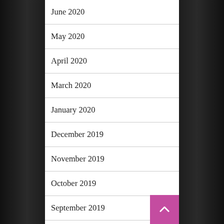June 2020
May 2020
April 2020
March 2020
January 2020
December 2019
November 2019
October 2019
September 2019
August 2019
July 2019
June 2019
May 2019